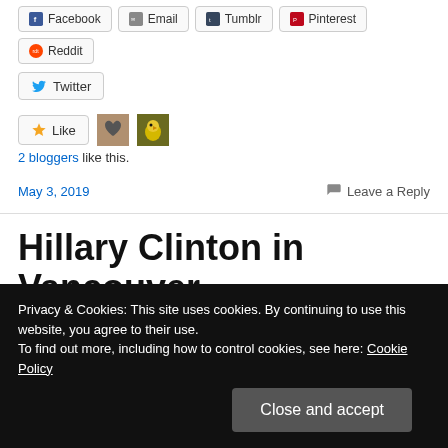[Figure (screenshot): Social share buttons row: Facebook, Email, Tumblr, Pinterest, Reddit]
[Figure (screenshot): Twitter share button]
[Figure (screenshot): Like button with two avatar thumbnails]
2 bloggers like this.
May 3, 2019    Leave a Reply
Hillary Clinton in Vancouver
This was the last event listed on the book tour website. Don't be discouraged. A small note at the bottom of the
Privacy & Cookies: This site uses cookies. By continuing to use this website, you agree to their use. To find out more, including how to control cookies, see here: Cookie Policy
Close and accept